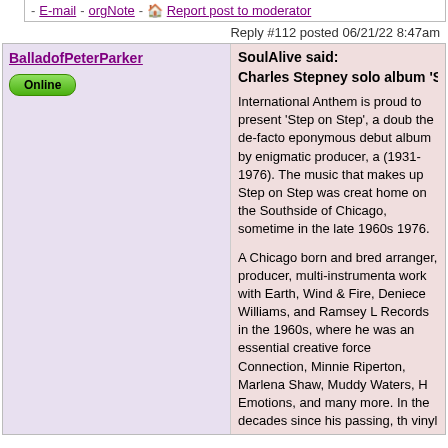- E-mail - orgNote - Report post to moderator
Reply #112 posted 06/21/22 8:47am
BalladofPeterParker
Online
SoulAlive said:
Charles Stepney solo album 'Step On Step'----a collection of de...

International Anthem is proud to present 'Step on Step', a doub... the de-facto eponymous debut album by enigmatic producer, a... (1931-1976). The music that makes up Step on Step was creat... home on the Southside of Chicago, sometime in the late 1960s... 1976.

A Chicago born and bred arranger, producer, multi-instrumenta... work with Earth, Wind & Fire, Deniece Williams, and Ramsey L... Records in the 1960s, where he was an essential creative force... Connection, Minnie Riperton, Marlena Shaw, Muddy Waters, H... Emotions, and many more. In the decades since his passing, th... vinyl labels has become a seal of quality for record collectors, n... sound has been used by countless samplers in the hip-hop wo... Quest, The Fugees, MF Doom, and Madlib. But in comparison... the music he created and the artists he supported while he was... figure… a genius relegated to the shadows.

One of the signature elements of his “baroque soul” sound is th... his horn and string arrangements (in many cases brought to life... Orchestra), as heard on Minnie Riperton's “Les Fleurs,” or Mar... “What Color Is Love.” Hence making it even more special that h... sees its first wide release nearly five decades after his death, is... recordings featuring Stepney, alone, performing all instruments... culture historian (and author of Step on Step liner notes) Ayana... unprecedented depiction of an imbued composer imagining and...